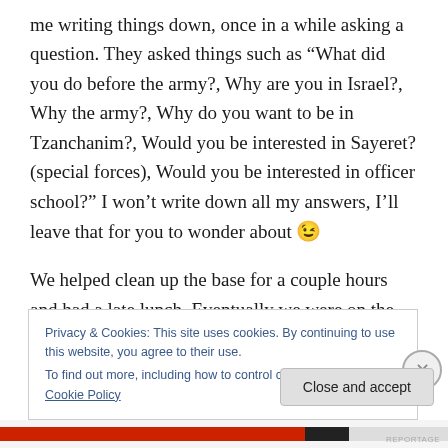me writing things down, once in a while asking a question. They asked things such as “What did you do before the army?, Why are you in Israel?, Why the army?, Why do you want to be in Tzanchanim?, Would you be interested in Sayeret? (special forces), Would you be interested in officer school?” I won’t write down all my answers, I’ll leave that for you to wonder about 😉
We helped clean up the base for a couple hours and had a late lunch. Eventually we were on the bus back to Mikveh Alon again. Everyone slept.
Privacy & Cookies: This site uses cookies. By continuing to use this website, you agree to their use.
To find out more, including how to control cookies, see here: Cookie Policy